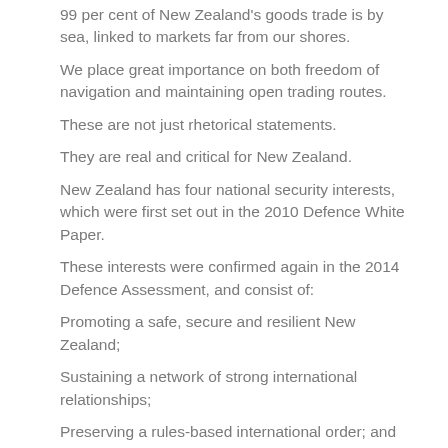99 per cent of New Zealand's goods trade is by sea, linked to markets far from our shores.
We place great importance on both freedom of navigation and maintaining open trading routes.
These are not just rhetorical statements.
They are real and critical for New Zealand.
New Zealand has four national security interests, which were first set out in the 2010 Defence White Paper.
These interests were confirmed again in the 2014 Defence Assessment, and consist of:
Promoting a safe, secure and resilient New Zealand;
Sustaining a network of strong international relationships;
Preserving a rules-based international order; and
Maintaining access to international markets via secure sea, air and electronic lines of communication.
We also see significant security challenges within our region that accompany these interests.
Exclusive Economic Zone
Natural resources within New Zealand's Exclusive